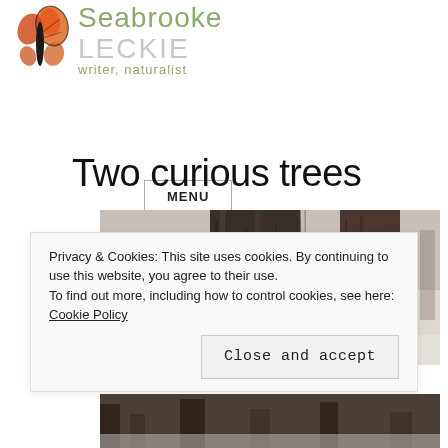[Figure (logo): SeabrookeLeckie website header with monarch butterfly logo and site name 'SeabrookeLeckie writer, naturalist']
MENU
Two curious trees
[Figure (photo): Close-up photograph of tree bark, dark textured trunk with bare winter trees in background]
Privacy & Cookies: This site uses cookies. By continuing to use this website, you agree to their use.
To find out more, including how to control cookies, see here: Cookie Policy
Close and accept
[Figure (photo): Partial view of a winter forest scene at the bottom of the page]